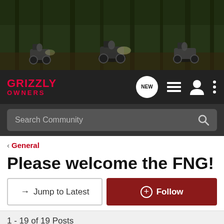[Figure (photo): Banner photo of three ATV riders on dirt trails through a forest]
GRIZZLY OWNERS — Navigation bar with NEW button, list icon, user icon, menu icon
Search Community
< General
Please welcome the FNG!
→ Jump to Latest
+ Follow
1 - 19 of 19 Posts
rickwalkerjr · Registered
Joined Jan 9, 2006 · 382 Posts